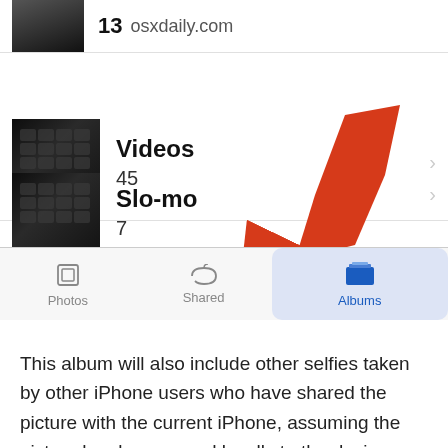[Figure (screenshot): iPhone Photos app Albums tab showing Videos (45) and Slo-mo (7) album rows with keyboard thumbnails, a red arrow pointing to the Albums tab in the bottom tab bar which shows Photos, Shared, and Albums tabs.]
This album will also include other selfies taken by other iPhone users who have shared the picture with the current iPhone, assuming the picture has been saved locally to the device.